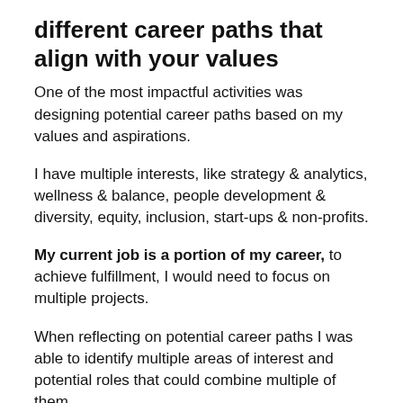different career paths that align with your values
One of the most impactful activities was designing potential career paths based on my values and aspirations.
I have multiple interests, like strategy & analytics, wellness & balance, people development & diversity, equity, inclusion, start-ups & non-profits.
My current job is a portion of my career, to achieve fulfillment, I would need to focus on multiple projects.
When reflecting on potential career paths I was able to identify multiple areas of interest and potential roles that could combine multiple of them.